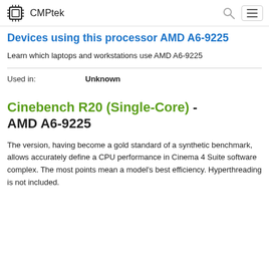CMPtek
Devices using this processor AMD A6-9225
Learn which laptops and workstations use AMD A6-9225
| Used in: | Unknown |
| --- | --- |
Cinebench R20 (Single-Core) - AMD A6-9225
The version, having become a gold standard of a synthetic benchmark, allows accurately define a CPU performance in Cinema 4 Suite software complex. The most points mean a model's best efficiency. Hyperthreading is not included.